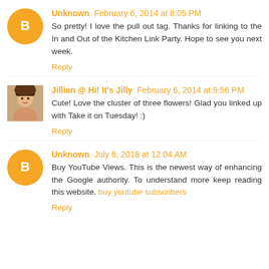Unknown February 6, 2014 at 8:05 PM
So pretty! I love the pull out tag. Thanks for linking to the In and Out of the Kitchen Link Party. Hope to see you next week.
Reply
Jillian @ Hi! It's Jilly February 6, 2014 at 9:56 PM
Cute! Love the cluster of three flowers! Glad you linked up with Take it on Tuesday! :)
Reply
Unknown July 6, 2018 at 12:04 AM
Buy YouTube Views. This is the newest way of enhancing the Google authority. To understand more keep reading this website. buy youtube subscribers
Reply